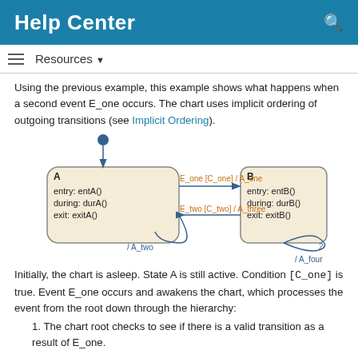Help Center
Using the previous example, this example shows what happens when a second event E_one occurs. The chart uses implicit ordering of outgoing transitions (see Implicit Ordering).
[Figure (flowchart): State chart diagram showing states A and B with transitions. State A has entry: entA(), during: durA(), exit: exitA(). State B has entry: entB(), during: durB(), exit: exitB(). Transitions: E_one [C_one] / A_one from A to B, E_two [C_two] / A_three from B to A with /A_two, and a self-loop on B labeled /A_four with number 2.]
Initially, the chart is asleep. State A is still active. Condition [C_one] is true. Event E_one occurs and awakens the chart, which processes the event from the root down through the hierarchy:
1. The chart root checks to see if there is a valid transition as a result of E_one.